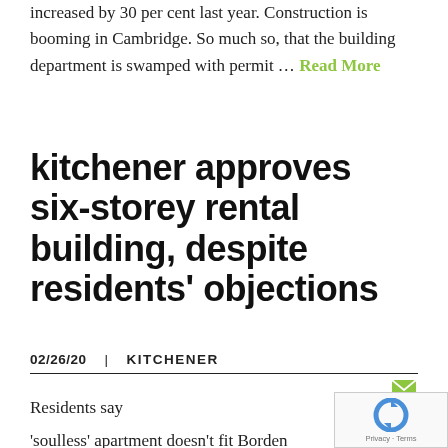increased by 30 per cent last year. Construction is booming in Cambridge. So much so, that the building department is swamped with permit … Read More
kitchener approves six-storey rental building, despite residents' objections
02/26/20  |  KITCHENER
Residents say
'soulless' apartment doesn't fit Borden